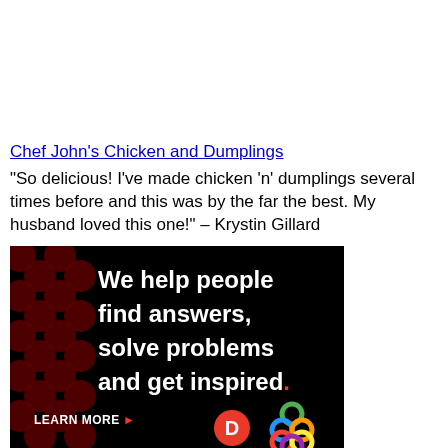Chef John's Chicken and Dumplings
"So delicious! I've made chicken 'n' dumplings several times before and this was by the far the best. My husband loved this one!" – Krystin Gillard
[Figure (infographic): Advertisement with black background and dark red dot pattern. White bold text reads 'We help people find answers, solve problems and get inspired.' with a red period. Bottom left shows 'LEARN MORE ▶' in white with red arrow. Bottom right shows a red circle with white 'D' logo and a colorful interlocking circles logo.]